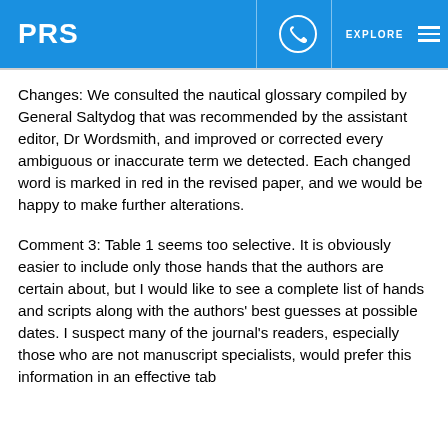PRS
Changes: We consulted the nautical glossary compiled by General Saltydog that was recommended by the assistant editor, Dr Wordsmith, and improved or corrected every ambiguous or inaccurate term we detected. Each changed word is marked in red in the revised paper, and we would be happy to make further alterations.
Comment 3: Table 1 seems too selective. It is obviously easier to include only those hands that the authors are certain about, but I would like to see a complete list of hands and scripts along with the authors' best guesses at possible dates. I suspect many of the journal's readers, especially those who are not manuscript specialists, would prefer this information in an effective tab